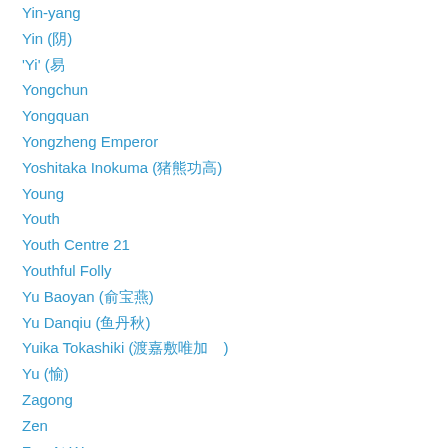Yin-yang
Yin (阴)
'Yi' (易
Yongchun
Yongquan
Yongzheng Emperor
Yoshitaka Inokuma (猪熊功高)
Young
Youth
Youth Centre 21
Youthful Folly
Yu Baoyan (俞宝燕)
Yu Danqiu (鱼丹秋)
Yuika Tokashiki (渡嘉敷唯加)
Yu (愉)
Zagong
Zen
Zen At War
Zhaihui
Zhang Sanfeng
Zhang (张) And Li (李)